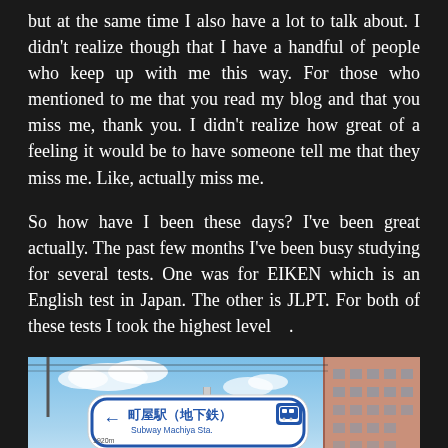but at the same time I also have a lot to talk about. I didn't realize though that I have a handful of people who keep up with me this way. For those who mentioned to me that you read my blog and that you miss me, thank you. I didn't realize how great of a feeling it would be to have someone tell me that they miss me. Like, actually miss me.
So how have I been these days? I've been great actually. The past few months I've been busy studying for several tests. One was for EIKEN which is an English test in Japan. The other is JLPT. For both of these tests I took the highest level   .
[Figure (photo): Photo of Japanese street signs pointing left to Machiya Station (subway and rail). Two signs with Japanese characters and English text: top sign reads '町屋駅(地下鉄) Subway Machiya Sta. 1920m' with subway icon, bottom sign reads '町屋駅 Machiya Sta. 1670m' with rail icon. A pink/salmon apartment building is visible in the background on the right side, with blue sky and some clouds.]